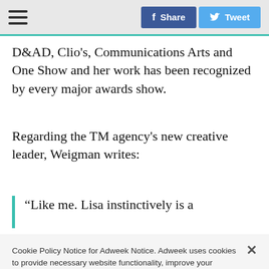☰  [Share] [Tweet]
D&AD, Clio's, Communications Arts and One Show and her work has been recognized by every major awards show.
Regarding the TM agency's new creative leader, Weigman writes:
“Like me. Lisa instinctively is a
Cookie Policy Notice for Adweek Notice. Adweek uses cookies to provide necessary website functionality, improve your experience, and analyze our traffic. By using our website, you agree to our privacy policy and our cookies usage.
Cookies Settings   Accept All Cookies